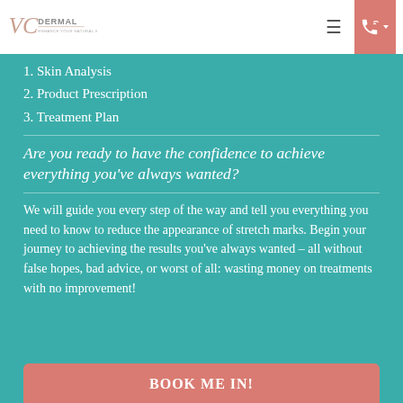[Figure (logo): VC Dermal logo with tagline 'Enhance Your Natural Skin']
1. Skin Analysis
2. Product Prescription
3. Treatment Plan
Are you ready to have the confidence to achieve everything you’ve always wanted?
We will guide you every step of the way and tell you everything you need to know to reduce the appearance of stretch marks. Begin your journey to achieving the results you’ve always wanted – all without false hopes, bad advice, or worst of all: wasting money on treatments with no improvement!
BOOK ME IN!